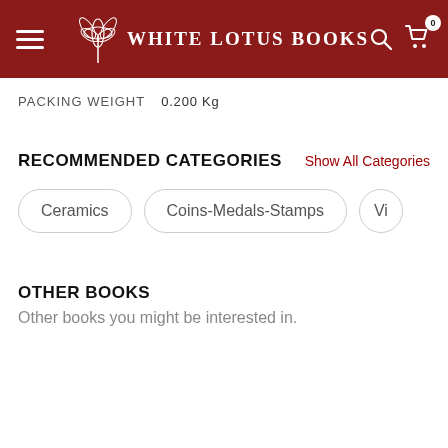White Lotus Books
PACKING WEIGHT   0.200 Kg
RECOMMENDED CATEGORIES
Show All Categories
Ceramics
Coins-Medals-Stamps
Vi…
OTHER BOOKS
Other books you might be interested in.